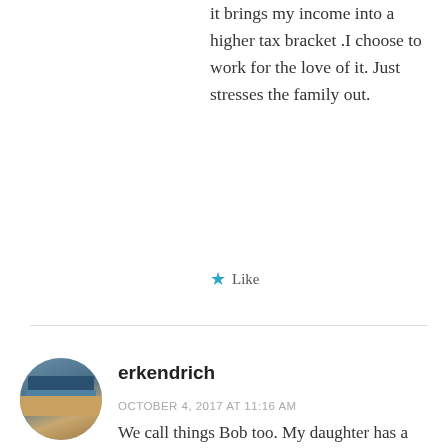it brings my income into a higher tax bracket .I choose to work for the love of it. Just stresses the family out.
★ Like
[Figure (photo): Circular avatar photo showing books on a shelf with a wooden surface, used as a user profile image for 'erkendrich']
erkendrich
OCTOBER 4, 2017 AT 11:16 AM
We call things Bob too. My daughter has a sundew plant called Bob; she's just taken it off to university with her as she says it'll help her stop missing the cats and dogs. We have three dogs and they do MOST of the things you listed!